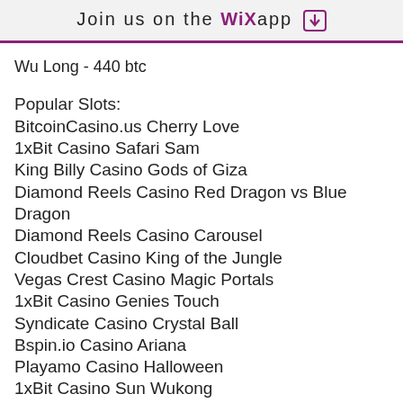Join us on the WiX app ↓
Wu Long - 440 btc
Popular Slots:
BitcoinCasino.us Cherry Love
1xBit Casino Safari Sam
King Billy Casino Gods of Giza
Diamond Reels Casino Red Dragon vs Blue Dragon
Diamond Reels Casino Carousel
Cloudbet Casino King of the Jungle
Vegas Crest Casino Magic Portals
1xBit Casino Genies Touch
Syndicate Casino Crystal Ball
Bspin.io Casino Ariana
Playamo Casino Halloween
1xBit Casino Sun Wukong
mBit Casino Ramses Book
BitcoinCasino.us Savanna Moon
Bitcoin Penguin Casino Book of Crazy